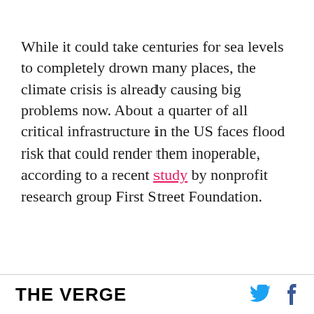While it could take centuries for sea levels to completely drown many places, the climate crisis is already causing big problems now. About a quarter of all critical infrastructure in the US faces flood risk that could render them inoperable, according to a recent study by nonprofit research group First Street Foundation.
THE VERGE